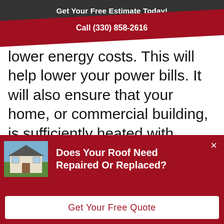Get Your Free Estimate Today!
Call (330) 858-2616
lower energy costs. This will help lower your power bills. It will also ensure that your home, or commercial building, is sufficiently heated with minimal wasted energy.
Things To Consider
[Figure (infographic): Popup overlay with house photo, text 'Does Your Roof Need Repaired Or Replaced?', close button, and 'Get Your Free Quote' button]
Does Your Roof Need Repaired Or Replaced?
Get Your Free Quote